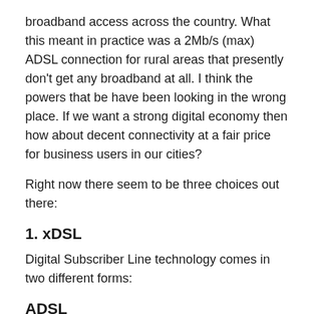broadband access across the country. What this meant in practice was a 2Mb/s (max) ADSL connection for rural areas that presently don't get any broadband at all. I think the powers that be have been looking in the wrong place. If we want a strong digital economy then how about decent connectivity at a fair price for business users in our cities?
Right now there seem to be three choices out there:
1. xDSL
Digital Subscriber Line technology comes in two different forms:
ADSL